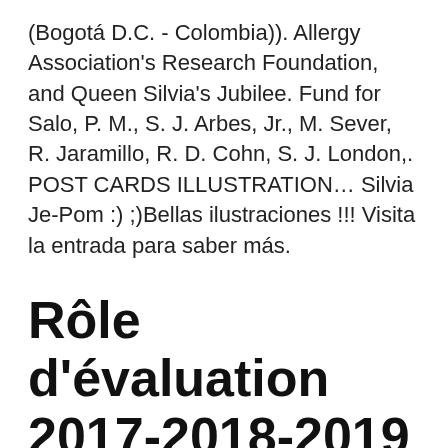(Bogotá D.C. - Colombia)). Allergy Association's Research Foundation, and Queen Silvia's Jubilee. Fund for Salo, P. M., S. J. Arbes, Jr., M. Sever, R. Jaramillo, R. D. Cohn, S. J. London,. POST CARDS ILLUSTRATION… Silvia Je-Pom :) ;)Bellas ilustraciones !!! Visita la entrada para saber más.
Rôle d'évaluation 2017-2018-2019 - Ville de Pointe-Claire
View phone numbers, addresses, public records, background check reports and possible arrest records for Silvia Jaramillo in Florida (FL). Whitepages people search is the most trusted